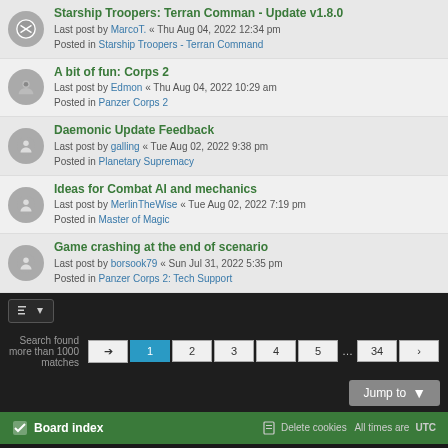Starship Troopers: Terran Comman - Update v1.8.0
Last post by MarcoT. « Thu Aug 04, 2022 12:34 pm
Posted in Starship Troopers - Terran Command
A bit of fun: Corps 2
Last post by Edmon « Thu Aug 04, 2022 10:29 am
Posted in Panzer Corps 2
Daemonic Update Feedback
Last post by galling « Tue Aug 02, 2022 9:38 pm
Posted in Planetary Supremacy
Ideas for Combat AI and mechanics
Last post by MerlinTheWise « Tue Aug 02, 2022 7:19 pm
Posted in Master of Magic
Game crashing at the end of scenario
Last post by borsook79 « Sun Jul 31, 2022 5:35 pm
Posted in Panzer Corps 2: Tech Support
Search found more than 1000 matches
Board index | Delete cookies | All times are UTC
Powered by phpBB® Forum Software © phpBB Limited
Privacy | Terms